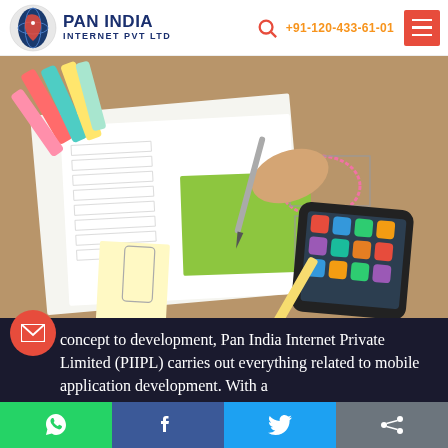PAN INDIA INTERNET PVT LTD | +91-120-433-61-01
[Figure (photo): A hand writing on a green sticky note on paper wireframe sketches, with a smartphone displaying app icons and colorful markers/highlighters in the background — a mobile app design/development concept scene]
concept to development, Pan India Internet Private Limited (PIIPL) carries out everything related to mobile application development. With a